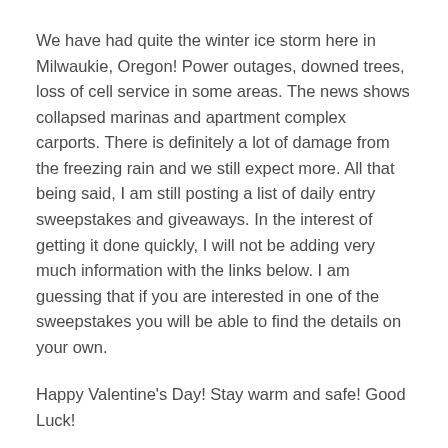We have had quite the winter ice storm here in Milwaukie, Oregon! Power outages, downed trees, loss of cell service in some areas. The news shows collapsed marinas and apartment complex carports. There is definitely a lot of damage from the freezing rain and we still expect more. All that being said, I am still posting a list of daily entry sweepstakes and giveaways. In the interest of getting it done quickly, I will not be adding very much information with the links below. I am guessing that if you are interested in one of the sweepstakes you will be able to find the details on your own.
Happy Valentine's Day! Stay warm and safe! Good Luck!
Win an Apple MacBook Pro 13 ($1299 Value)!